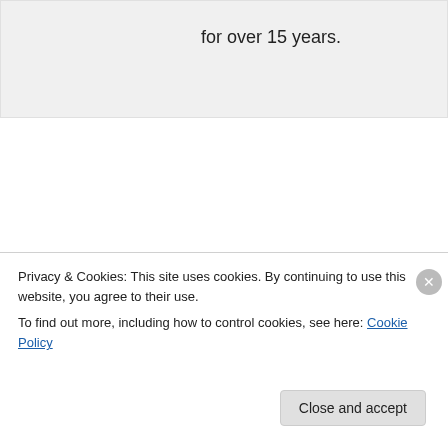for over 15 years.
Wirral In It Together on January 6, 2018 at 9:40 am
Not all of us receive clemencies for drink driving either.
Privacy & Cookies: This site uses cookies. By continuing to use this website, you agree to their use. To find out more, including how to control cookies, see here: Cookie Policy
Close and accept